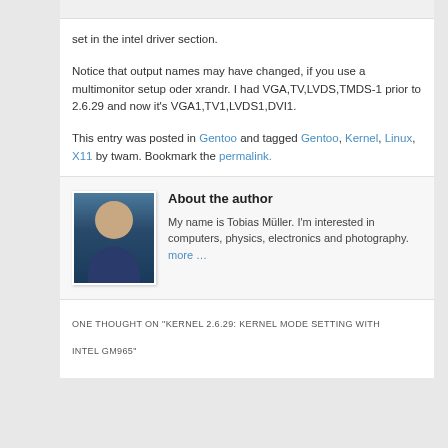[Figure (other): Top image bar placeholder]
set in the intel driver section.
Notice that output names may have changed, if you use a multimonitor setup oder xrandr. I had VGA,TV,LVDS,TMDS-1 prior to 2.6.29 and now it's VGA1,TV1,LVDS1,DVI1.
This entry was posted in Gentoo and tagged Gentoo, Kernel, Linux, X11 by twam. Bookmark the permalink.
About the author
My name is Tobias Müller. I'm interested in computers, physics, electronics and photography. more …
ONE THOUGHT ON "KERNEL 2.6.29: KERNEL MODE SETTING WITH INTEL GM965"